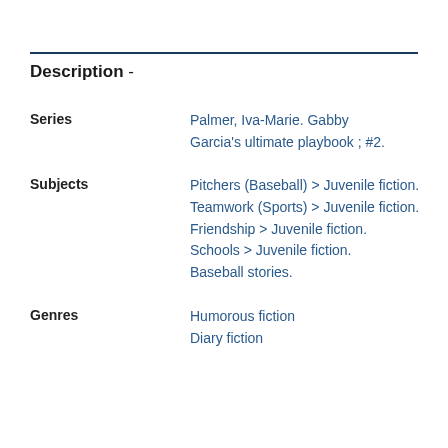Description -
Series: Palmer, Iva-Marie. Gabby Garcia's ultimate playbook ; #2.
Subjects: Pitchers (Baseball) > Juvenile fiction. Teamwork (Sports) > Juvenile fiction. Friendship > Juvenile fiction. Schools > Juvenile fiction. Baseball stories.
Genres: Humorous fiction Diary fiction